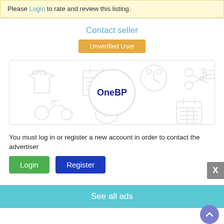Please Login to rate and review this listing.
Contact seller
Unverified User
[Figure (logo): OneBP logo in a circle surrounded by faint e-commerce icons (t-shirt, calendar, clock, scissors, scooter, money bag, filters)]
You must log in or register a new account in order to contact the advertiser
Login
Register
See all ads